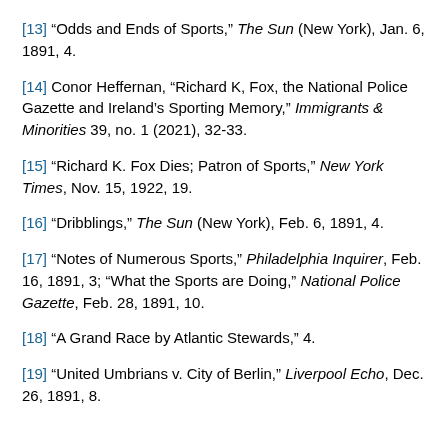[13] “Odds and Ends of Sports,” The Sun (New York), Jan. 6, 1891, 4.
[14] Conor Heffernan, “Richard K, Fox, the National Police Gazette and Ireland’s Sporting Memory,” Immigrants & Minorities 39, no. 1 (2021), 32-33.
[15] “Richard K. Fox Dies; Patron of Sports,” New York Times, Nov. 15, 1922, 19.
[16] “Dribblings,” The Sun (New York), Feb. 6, 1891, 4.
[17] “Notes of Numerous Sports,” Philadelphia Inquirer, Feb. 16, 1891, 3; “What the Sports are Doing,” National Police Gazette, Feb. 28, 1891, 10.
[18] “A Grand Race by Atlantic Stewards,” 4.
[19] “United Umbrians v. City of Berlin,” Liverpool Echo, Dec. 26, 1891, 8.